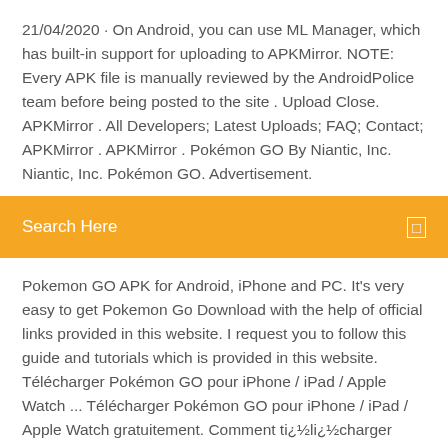21/04/2020 · On Android, you can use ML Manager, which has built-in support for uploading to APKMirror. NOTE: Every APK file is manually reviewed by the AndroidPolice team before being posted to the site . Upload Close. APKMirror . All Developers; Latest Uploads; FAQ; Contact; APKMirror . APKMirror . Pokémon GO By Niantic, Inc. Niantic, Inc. Pokémon GO. Advertisement.
Search Here
Pokemon GO APK for Android, iPhone and PC. It's very easy to get Pokemon Go Download with the help of official links provided in this website. I request you to follow this guide and tutorials which is provided in this website. Télécharger Pokémon GO pour iPhone / iPad / Apple Watch ... Télécharger Pokémon GO pour iPhone / iPad / Apple Watch gratuitement. Comment ti¿½li¿½charger avec 01net. En cliquant sur le bouton i¿½ ti¿½li¿½charger i¿½, vous bi¿½ni Pokémon GO 0.175.0 - Télécharger pour PC Gratuitement